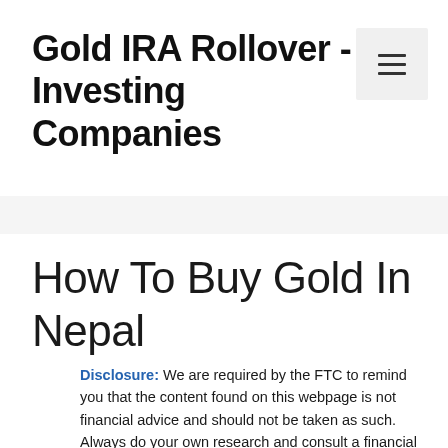Gold IRA Rollover - Investing Companies
Disclosure: We are required by the FTC to remind you that the content found on this webpage is not financial advice and should not be taken as such. Always do your own research and consult a financial professional before making any investment decisions. The owners of this website may